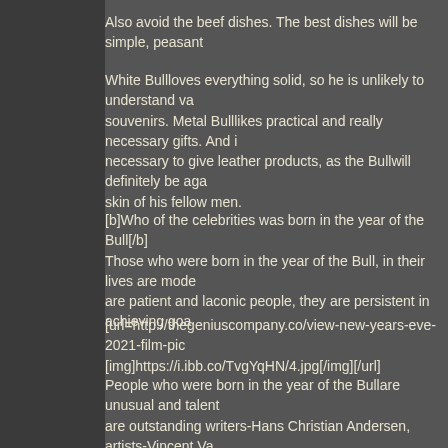Also avoid the beef dishes. The best dishes will be simple, peasant...
White Bullloves everything solid, so he is unlikely to understand va... souvenirs. Metal Bulllikes practical and really necessary gifts. And it is necessary to give leather products, as the Bullwill definitely be aga... skin of his fellow men.
[b]Who of the celebrities was born in the year of the Bull[/b] Those who were born in the year of the Bull, in their lives are mode... are patient and laconic people, they are persistent in achieving goa...
[url=http://thegeniuscompany.co/view-new-years-eve-2021-film-pic... [img]https://i.ibb.co/TvgYqHN/4.jpg[/img][/url]
People who were born in the year of the Bullare unusual and talent... are outstanding writers-Hans Christian Andersen, artists-Vincent Va... Johann Sebastian Bach, famous actors-Charlie Chaplin, Dustin Ho... Paul Newman. Many extraordinary political leaders were born in th... Napoleon Bonaparte, Adolf Hitler, Saddam Hussein, Japanese Em... Thatcher.